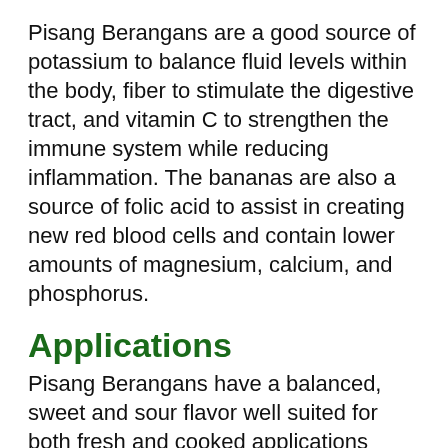Pisang Berangans are a good source of potassium to balance fluid levels within the body, fiber to stimulate the digestive tract, and vitamin C to strengthen the immune system while reducing inflammation. The bananas are also a source of folic acid to assist in creating new red blood cells and contain lower amounts of magnesium, calcium, and phosphorus.
Applications
Pisang Berangans have a balanced, sweet and sour flavor well suited for both fresh and cooked applications such as frying and baking. The bananas are primarily consumed straight, out-of-hand as a snack or dessert, or the flesh can be sliced and used as a topping for banana splits. Pisang Berangans can also be blended into smoothies and used to flavor ice cream. Beyond fresh applications, Pisang Berangans are frequently sliced and fried, known as pisang goreng, and are sold as popular street food in